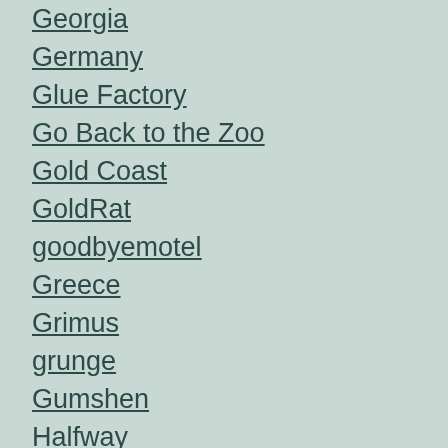Georgia
Germany
Glue Factory
Go Back to the Zoo
Gold Coast
GoldRat
goodbyemotel
Greece
Grimus
grunge
Gumshen
Halfway
Hamilton
Hand Painted Swinger